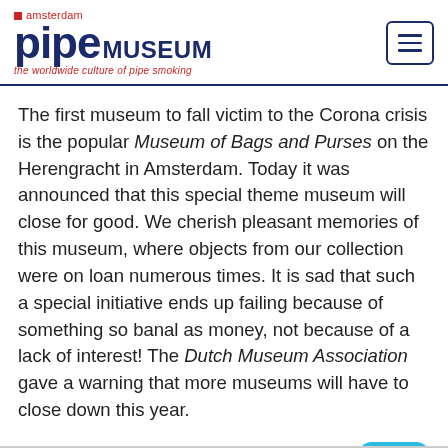[Figure (logo): Amsterdam Pipe Museum logo with red square icon, 'amsterdam' in red above 'pipe MUSEUM' in dark navy blue, tagline 'the worldwide culture of pipe smoking' in red italic below]
The first museum to fall victim to the Corona crisis is the popular Museum of Bags and Purses on the Herengracht in Amsterdam. Today it was announced that this special theme museum will close for good. We cherish pleasant memories of this museum, where objects from our collection were on loan numerous times. It is sad that such a special initiative ends up failing because of something so banal as money, not because of a lack of interest! The Dutch Museum Association gave a warning that more museums will have to close down this year.
Permalink →